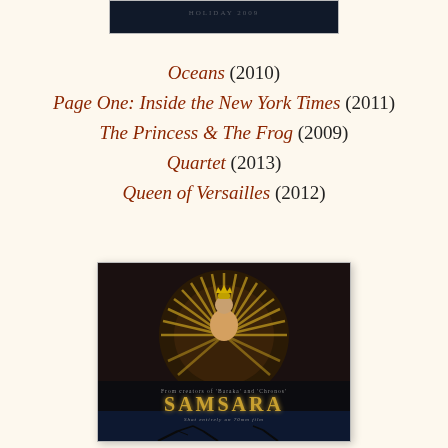[Figure (photo): Top portion of a movie poster with dark background, partially visible, showing 'HOLIDAY 2009' text]
Oceans (2010)
Page One: Inside the New York Times (2011)
The Princess & The Frog (2009)
Quartet (2013)
Queen of Versailles (2012)
[Figure (photo): Movie poster for Samsara - shows a dancer in golden costume with many arms spread like a peacock, in golden and yellow tones. Text reads 'From creators of Baraka and Chronos', 'SAMSARA', 'Shot entirely on 70mm film'. Bottom portion shows dark blue night sky with bare tree branches.]